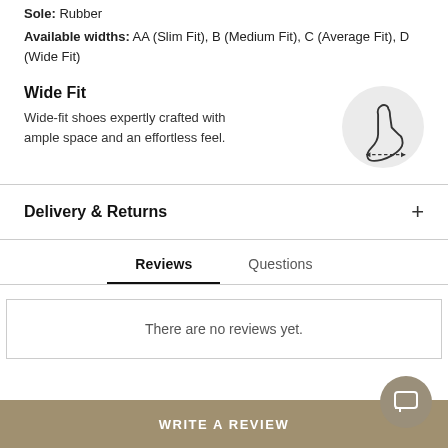Sole: Rubber
Available widths: AA (Slim Fit), B (Medium Fit), C (Average Fit), D (Wide Fit)
Wide Fit
Wide-fit shoes expertly crafted with ample space and an effortless feel.
[Figure (illustration): Circular grey icon showing an outline of a foot with a dashed line indicating width measurement]
Delivery & Returns
Reviews | Questions (tab bar, Reviews active)
There are no reviews yet.
WRITE A REVIEW